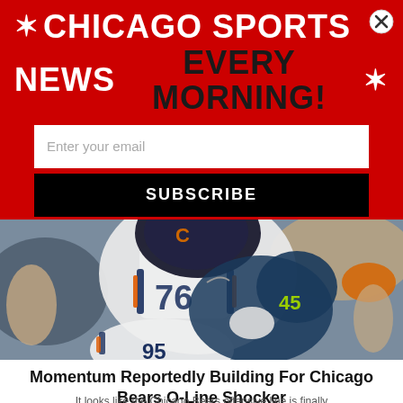✶CHICAGO SPORTS NEWS EVERY MORNING!✶
Enter your email
SUBSCRIBE
[Figure (photo): Chicago Bears football players in action, player number 76 in white Bears uniform tackling an opposing player, another Bears player number 95 visible in foreground]
Momentum Reportedly Building For Chicago Bears O-Line Shocker
It looks like the Chicago Bears offensive line is finally